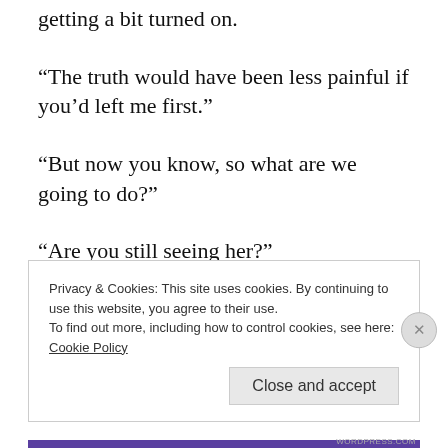was a good girl, and funny though, I was getting a bit turned on.
“The truth would have been less painful if you’d left me first.”
“But now you know, so what are we going to do?”
“Are you still seeing her?”
“…
Privacy & Cookies: This site uses cookies. By continuing to use this website, you agree to their use.
To find out more, including how to control cookies, see here:
Cookie Policy
Close and accept